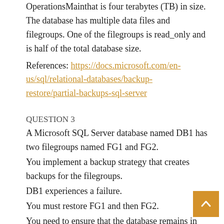OperationsMannthat is four terabytes (TB) in size. The database has multiple data files and filegroups. One of the filegroups is read_only and is half of the total database size.
References: https://docs.microsoft.com/en-us/sql/relational-databases/backup-restore/partial-backups-sql-server
QUESTION 3
A Microsoft SQL Server database named DB1 has two filegroups named FG1 and FG2.
You implement a backup strategy that creates backups for the filegroups.
DB1 experiences a failure.
You must restore FG1 and then FG2.
You need to ensure that the database remains in the RECOVERING state until the restoration of FG2.